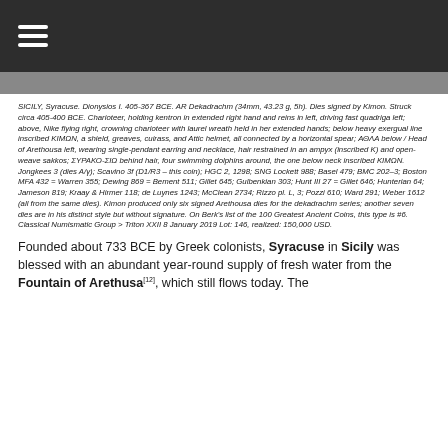≡ (hamburger menu)
SICILY, Syracuse. Dionysios I. 405-367 BCE. AR Dekadrachm (34mm, 43.23 g, 5h). Dies signed by Kimon. Struck circa 405-400 BCE. Charioteer, holding kentron in extended right hand and reins in left, driving fast quadriga left; above, Nike flying right, crowning charioteer with laurel wreath held in her extended hands; below heavy exergual line inscribed KIMON, a shield, greaves, cuirass, and Attic helmet, all connected by a horizontal spear; ΑΘΛΑ below / Head of Arethousa left, wearing single-pendant earring and necklace, hair restrained in an ampyx (inscribed K) and open-weave sakkos; ΣΥΡΑΚΟ-ΣΙΩ behind hair, four swimming dolphins around, the one below neck inscribed ΚΙΜΩΝ. Jongkees 3 (dies A/γ); Scavino 3f (D1/R3 – this coin); HGC 2, 1298; SNG Lockett 988; Basel 479; BMC 202–3; Boston MFA 432 = Warren 355; Dewing 869 = Bement 511; Gillet 645; Gulbenkian 303; Hunt III 27 = Gillet 646; Hunterian 64; Jameson 819; Kraay & Hirmer 118; de Luynes 1243; McClean 2734; Rizzo pl. L, 3; Pozzi 610; Ward 291; Weber 1612 (all from the same dies). Kimon produced only six signed Arethousa dies for the dekadrachm series; another seven dies are in his distinct style but without signature. On Berk's list of the 100 Greatest Ancient Coins, this type is #6. Classical Numismatic Group > Triton XXII 8 January 2019 Lot: 146, realized: 150,000 USD.
Founded about 733 BCE by Greek colonists, Syracuse in Sicily was blessed with an abundant year-round supply of fresh water from the Fountain of Arethusa[12], which still flows today. The